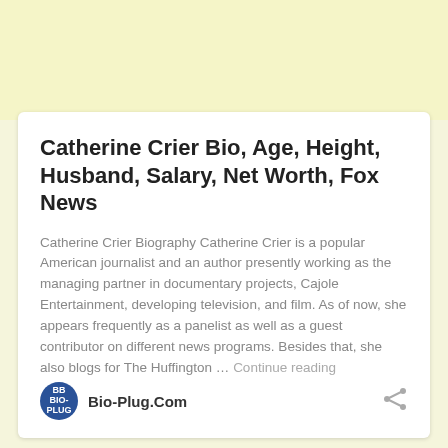Catherine Crier Bio, Age, Height, Husband, Salary, Net Worth, Fox News
Catherine Crier Biography Catherine Crier is a popular American journalist and an author presently working as the managing partner in documentary projects, Cajole Entertainment, developing television, and film. As of now, she appears frequently as a panelist as well as a guest contributor on different news programs. Besides that, she also blogs for The Huffington … Continue reading
Bio-Plug.Com